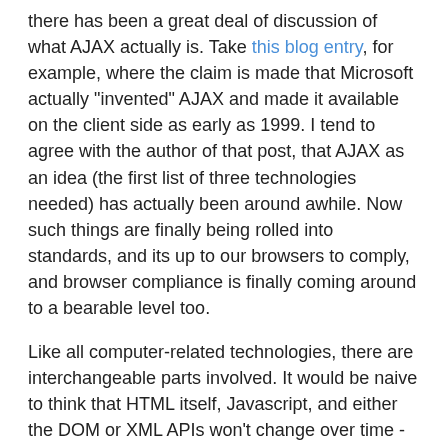there has been a great deal of discussion of what AJAX actually is. Take this blog entry, for example, where the claim is made that Microsoft actually "invented" AJAX and made it available on the client side as early as 1999. I tend to agree with the author of that post, that AJAX as an idea (the first list of three technologies needed) has actually been around awhile. Now such things are finally being rolled into standards, and its up to our browsers to comply, and browser compliance is finally coming around to a bearable level too.
Like all computer-related technologies, there are interchangeable parts involved. It would be naive to think that HTML itself, Javascript, and either the DOM or XML APIs won't change over time - but the core ideas are necessary for the improved user experience that AJAX offers. Is there a reason to think that network requests will bypass the speed of local instructions? This is a different topic really, and I'll avoid the tangent, but how is any company going to deploy a usable web-based OS without relying heavily on client-side support?